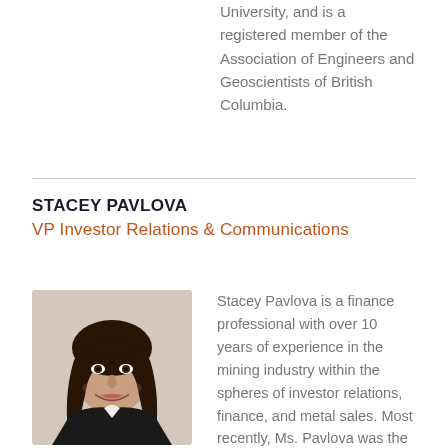University, and is a registered member of the Association of Engineers and Geoscientists of British Columbia.
STACEY PAVLOVA
VP Investor Relations & Communications
[Figure (photo): Professional headshot of Stacey Pavlova, a woman with long dark brown hair, smiling, wearing a dark blazer]
Stacey Pavlova is a finance professional with over 10 years of experience in the mining industry within the spheres of investor relations, finance, and metal sales. Most recently, Ms. Pavlova was the Vice President, Investor Relations and Corporate Communications